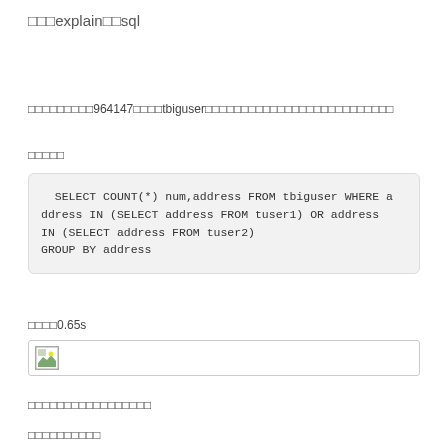□□□explain□□sql
□□□□□□□□□964147□□□□tbiguser□□□□□□□□□□□□□□□□□□□□□□□□□□
□□□□□
SELECT COUNT(*) num,address FROM tbiguser WHERE address IN (SELECT address FROM tuser1) OR address IN (SELECT address FROM tuser2)
 GROUP BY address
□□□□0.65s
[Figure (screenshot): Screenshot/image placeholder with broken image icon]
□□□□□□□□□□□□□□□□□
□□□□□□□□□□